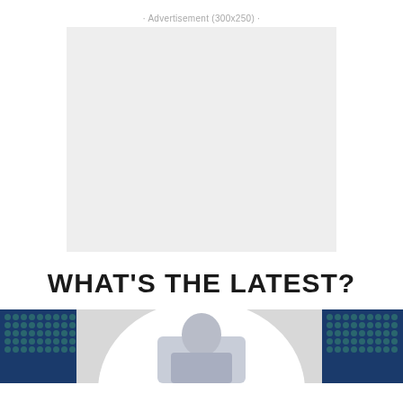· Advertisement (300x250) ·
[Figure (other): Advertisement placeholder box, 300x250, light grey background]
WHAT'S THE LATEST?
[Figure (photo): Photo strip showing a person (woman) in the center with a white oval background, flanked by dark navy blue panels with teal dot grid patterns on left and right]